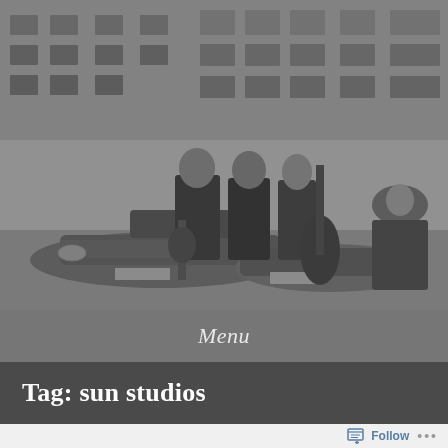[Figure (photo): Black and white vintage photograph of three musicians standing in front of a classic car on a city street. Two men and one woman, one holding a double bass guitar. Buildings visible in the background.]
Menu
Tag: sun studios
Follow ...